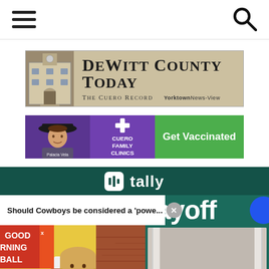Navigation bar with hamburger menu and search icon
[Figure (logo): DeWitt County Today - The Cuero Record | Yorktown News-View banner logo with building illustration]
[Figure (other): Cuero Family Clinics - Get Vaccinated advertisement banner with person in hat and green call-to-action button]
[Figure (screenshot): Tally video player section with dark teal background showing NFL playoff content. Notification: 'Should Cowboys be considered a powe...' with close button. Video thumbnail shows Good Morning Football set with female host at desk with Microsoft Surface laptop.]